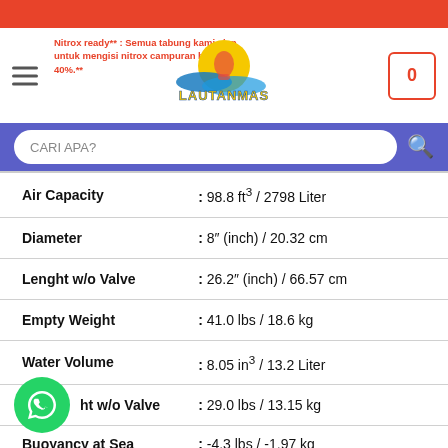[Figure (logo): LautanMas dive shop logo with wave and sun graphic]
Nitrox ready** : Semua tabung kami siap untuk mengisi nitrox campuran hingga 40%.**
| Property | Value |
| --- | --- |
| Air Capacity | : 98.8 ft³ / 2798 Liter |
| Diameter | : 8" (inch) / 20.32 cm |
| Lenght w/o Valve | : 26.2" (inch) / 66.57 cm |
| Empty Weight | : 41.0 lbs / 18.6 kg |
| Water Volume | : 8.05 in³ / 13.2 Liter |
| ht w/o Valve | : 29.0 lbs / 13.15 kg |
| Buoyancy at Sea (Full) | : -4.3 lbs / -1.97 kg |